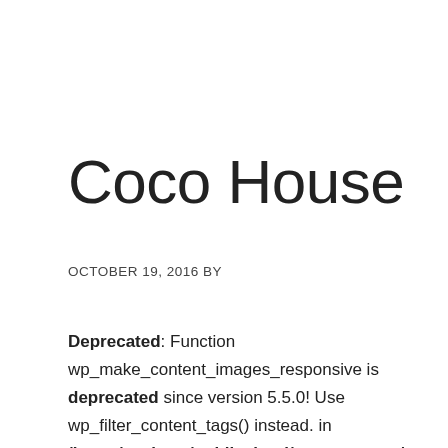Coco House
OCTOBER 19, 2016 BY
Deprecated: Function wp_make_content_images_responsive is deprecated since version 5.5.0! Use wp_filter_content_tags() instead. in /home/cscbgor/public_html/camp.org.my/wp-